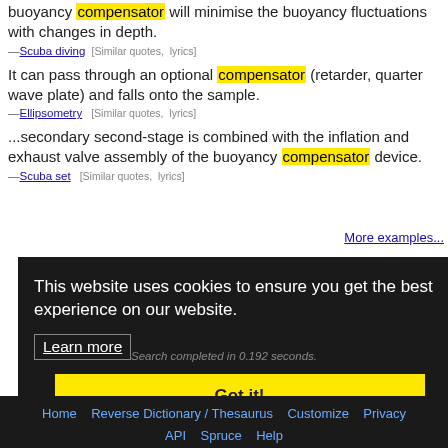buoyancy compensator will minimise the buoyancy fluctuations with changes in depth.
—Scuba diving [Similar quotes, lyrics]
It can pass through an optional compensator (retarder, quarter wave plate) and falls onto the sample.
—Ellipsometry [Similar quotes, lyrics]
...secondary second-stage is combined with the inflation and exhaust valve assembly of the buoyancy compensator device.
—Scuba set [Similar quotes, lyrics]
More examples...
This website uses cookies to ensure you get the best experience on our website.
Learn more
Got it!
Search completed in 0.192 seconds.
Home  Reverse Dictionary / Thesaurus  Customize  Privacy  API  Spruce  Help